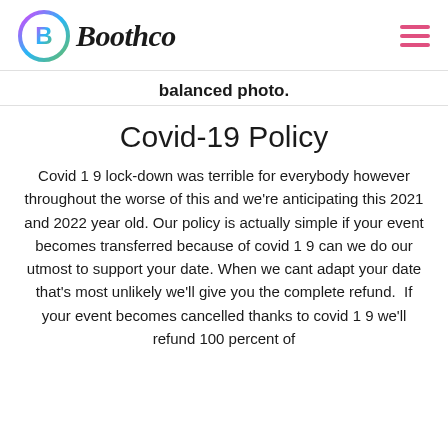Boothco
balanced photo.
Covid-19 Policy
Covid 1 9 lock-down was terrible for everybody however throughout the worse of this and we're anticipating this 2021 and 2022 year old. Our policy is actually simple if your event becomes transferred because of covid 1 9 can we do our utmost to support your date. When we cant adapt your date that's most unlikely we'll give you the complete refund.  If your event becomes cancelled thanks to covid 1 9 we'll refund 100 percent of